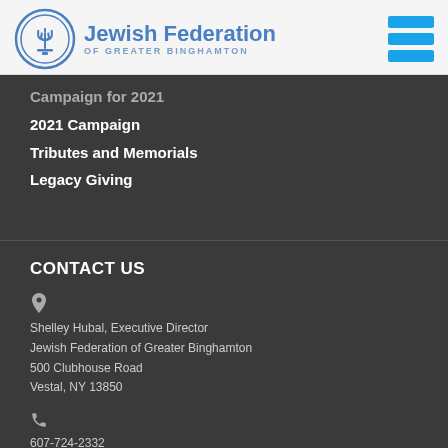[Figure (logo): Jewish Federation of Greater Binghamton logo with circular menorah emblem and blue text]
Campaign for 2021 (partially cut off)
2021 Campaign
Tributes and Memorials
Legacy Giving
CONTACT US
Shelley Hubal, Executive Director
Jewish Federation of Greater Binghamton
500 Clubhouse Road
Vestal, NY 13850
607-724-2332